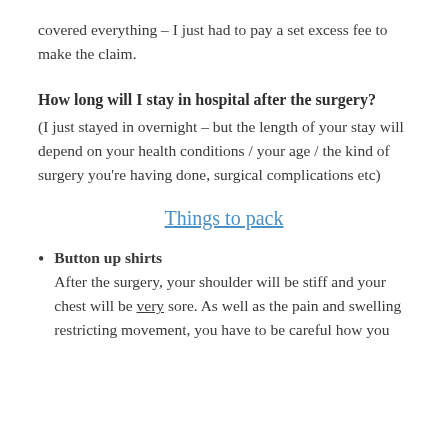covered everything – I just had to pay a set excess fee to make the claim.
How long will I stay in hospital after the surgery?
(I just stayed in overnight – but the length of your stay will depend on your health conditions / your age / the kind of surgery you're having done, surgical complications etc)
Things to pack
Button up shirts – After the surgery, your shoulder will be stiff and your chest will be very sore. As well as the pain and swelling restricting movement, you have to be careful how you